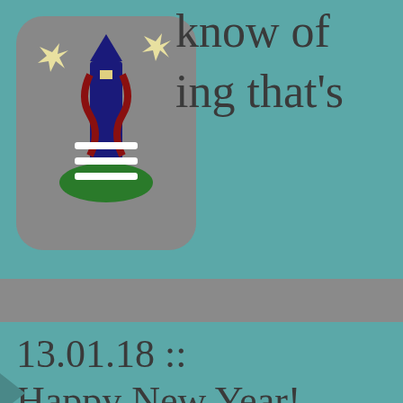know of
ing that's
[Figure (logo): App icon with lighthouse/tower graphic on gray rounded rectangle background, with white horizontal lines (menu icon) overlay]
13.01.18 :: Happy New Year! Things are changing around